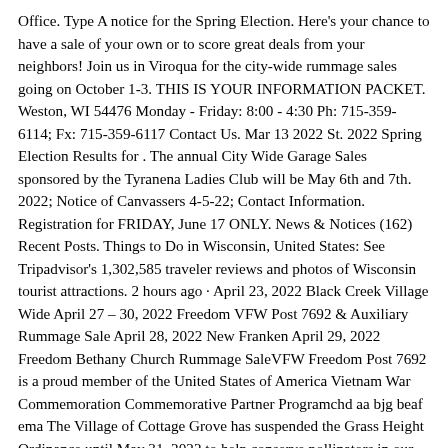Office. Type A notice for the Spring Election. Here's your chance to have a sale of your own or to score great deals from your neighbors! Join us in Viroqua for the city-wide rummage sales going on October 1-3. THIS IS YOUR INFORMATION PACKET. Weston, WI 54476 Monday - Friday: 8:00 - 4:30 Ph: 715-359-6114; Fx: 715-359-6117 Contact Us. Mar 13 2022 St. 2022 Spring Election Results for . The annual City Wide Garage Sales sponsored by the Tyranena Ladies Club will be May 6th and 7th. 2022; Notice of Canvassers 4-5-22; Contact Information. Registration for FRIDAY, June 17 ONLY. News & Notices (162) Recent Posts. Things to Do in Wisconsin, United States: See Tripadvisor's 1,302,585 traveler reviews and photos of Wisconsin tourist attractions. 2 hours ago · April 23, 2022 Black Creek Village Wide April 27 – 30, 2022 Freedom VFW Post 7692 & Auxiliary Rummage Sale April 28, 2022 New Franken April 29, 2022 Freedom Bethany Church Rummage SaleVFW Freedom Post 7692 is a proud member of the United States of America Vietnam War Commemoration Commemorative Partner Programchd aa bjg beaf ema The Village of Cottage Grove has suspended the Grass Height Ordinance until May 31, 2022 to help conserve pollinators in our area. 4. Report . Welcome to Village of Eagle Municipal Office: 820 E. Parks and Recreation Committee. Drop off your money at the Iola Village Library, 180 South Main Street in Iola. Janesville Renaissance Faire. Register by May 1: Registration Form 2022. With the 9-12pm slot registrants will have 50 minutes